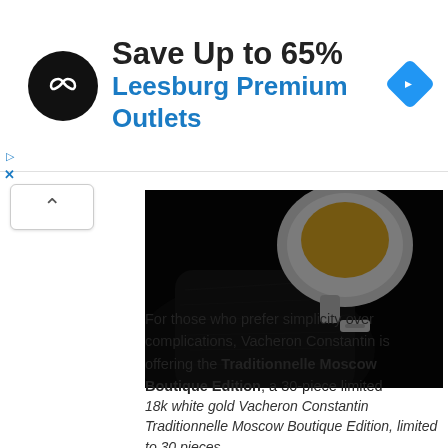[Figure (infographic): Advertisement banner for Leesburg Premium Outlets showing circular black logo with infinity-like symbol, text 'Save Up to 65%' and 'Leesburg Premium Outlets' in blue, and a blue diamond navigation icon on the right.]
[Figure (photo): Close-up photo of a luxury watch strap and case back in black leather on a black background, showing the watch clasp and embossed crocodile leather texture.]
18k white gold Vacheron Constantin Traditionnelle Moscow Boutique Edition, limited to 30 pieces.
For those who prefer simplicity over complications, Vacheron Constantin is offering the Traditionnelle Moscow Boutique Edition, a 30-piece limited